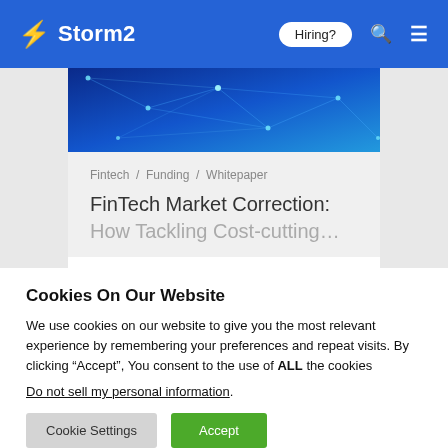Storm2 | Hiring? [nav]
[Figure (screenshot): Blue geometric/network pattern hero image banner]
Fintech / Funding / Whitepaper
FinTech Market Correction:
Cookies On Our Website
We use cookies on our website to give you the most relevant experience by remembering your preferences and repeat visits. By clicking “Accept”, You consent to the use of ALL the cookies
Do not sell my personal information.
Cookie Settings | Accept